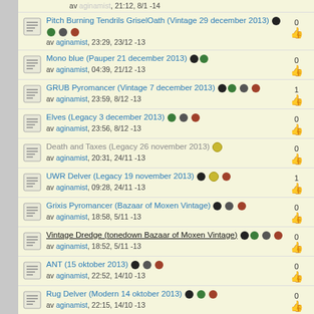av aginamist, 21:12, 8/1 -14
Pitch Burning Tendrils GriselOath (Vintage 29 december 2013) | 0 votes | av aginamist, 23:29, 23/12 -13
Mono blue (Pauper 21 december 2013) | 0 votes | av aginamist, 04:39, 21/12 -13
GRUB Pyromancer (Vintage 7 december 2013) | 1 vote | av aginamist, 23:59, 8/12 -13
Elves (Legacy 3 december 2013) | 0 votes | av aginamist, 23:56, 8/12 -13
Death and Taxes (Legacy 26 november 2013) | 0 votes | av aginamist, 20:31, 24/11 -13
UWR Delver (Legacy 19 november 2013) | 1 vote | av aginamist, 09:28, 24/11 -13
Grixis Pyromancer (Bazaar of Moxen Vintage) | 0 votes | av aginamist, 18:58, 5/11 -13
Vintage Dredge (tonedown Bazaar of Moxen Vintage) | 0 votes | av aginamist, 18:52, 5/11 -13
ANT (15 oktober 2013) | 0 votes | av aginamist, 22:52, 14/10 -13
Rug Delver (Modern 14 oktober 2013) | 0 votes | av aginamist, 22:15, 14/10 -13
Esper Control (FNM 11 oktober 2013)...